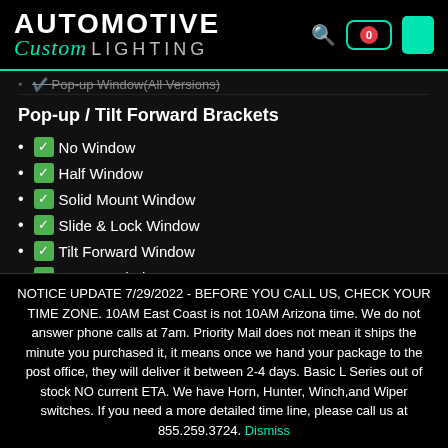[Figure (logo): Automotive Custom Lighting logo with teal/green accent, search icon, cart with badge showing 0, and green rectangle button]
Pop-up Window(All Versions) - strikethrough
Pop-up / Tilt Forward Brackets
✅No Window
✅Half Window
✅Solid Mount Window
✅Slide & Lock Window
✅Tilt Forward Window
✅Pop-up Window
✅Pop-up Window W/Straight Bar (partial)
NOTICE UPDATE 7/29/2022 - BEFORE YOU CALL US, CHECK YOUR TIME ZONE. 10AM East Coast is not 10AM Arizona time. We do not answer phone calls at 7am. Priority Mail does not mean it ships the minute you purchased it, it means once we hand your package to the post office, they will deliver it between 2-4 days. Basic L Series out of stock NO current ETA. We have Horn, Hunter, Winch,and Wiper switches. If you need a more detailed time line, please call us at 855.259.3724. Dismiss